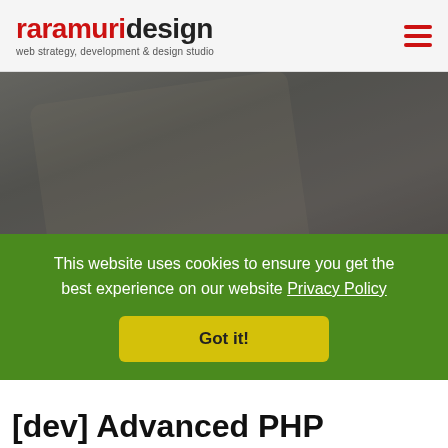raramuridesign — web strategy, development & design studio
[Figure (photo): Blurred background photo of hands using a tablet, used as hero image behind Tips & Tricks heading]
Tips & Tricks
Articles to give you more insight
This website uses cookies to ensure you get the best experience on our website Privacy Policy
Got it!
[dev] Advanced PHP